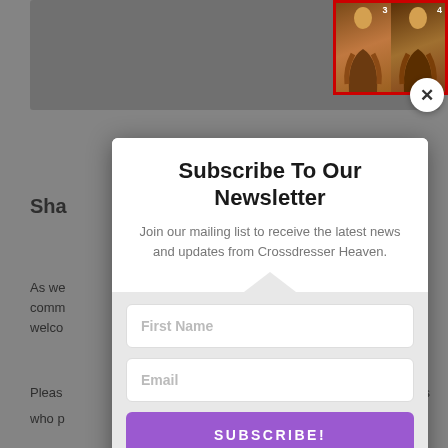[Figure (screenshot): Background webpage with partially visible text about sharing and community, dimmed behind modal overlay]
[Figure (photo): Two thumbnail photos of women in brown tops in top-right corner with red border]
Subscribe To Our Newsletter
Join our mailing list to receive the latest news and updates from Crossdresser Heaven.
First Name
Email
SUBSCRIBE!
We hate spam too, unsubscribe at any time.